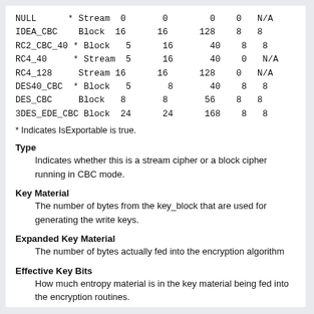| NULL | * Stream | 0 | 0 | 0 | 0 | N/A |
| IDEA_CBC | Block | 16 | 16 | 128 | 8 | 8 |
| RC2_CBC_40 | * Block | 5 | 16 | 40 | 8 | 8 |
| RC4_40 | * Stream | 5 | 16 | 40 | 0 | N/A |
| RC4_128 | Stream | 16 | 16 | 128 | 0 | N/A |
| DES40_CBC | * Block | 5 | 8 | 40 | 8 | 8 |
| DES_CBC | Block | 8 | 8 | 56 | 8 | 8 |
| 3DES_EDE_CBC | Block | 24 | 24 | 168 | 8 | 8 |
* Indicates IsExportable is true.
Type
Indicates whether this is a stream cipher or a block cipher running in CBC mode.
Key Material
The number of bytes from the key_block that are used for generating the write keys.
Expanded Key Material
The number of bytes actually fed into the encryption algorithm
Effective Key Bits
How much entropy material is in the key material being fed into the encryption routines.